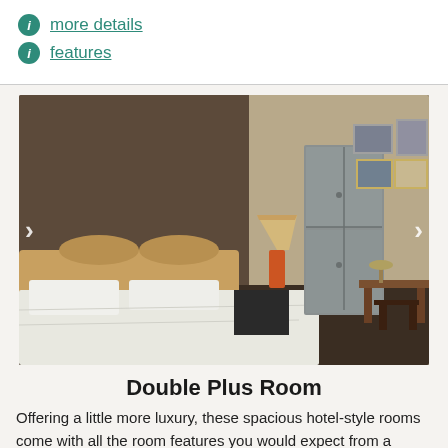more details
features
[Figure (photo): Hotel room photo showing a double bed with white linens, wooden headboard, orange lamp on nightstand, tall grey metal wardrobe/locker, wooden desk and chair, framed pictures on wall]
Double Plus Room
Offering a little more luxury, these spacious hotel-style rooms come with all the room features you would expect from a